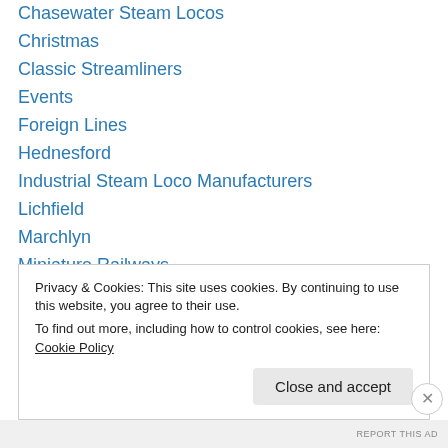Chasewater Steam Locos
Christmas
Classic Streamliners
Events
Foreign Lines
Hednesford
Industrial Steam Loco Manufacturers
Lichfield
Marchlyn
Miniature Railways
Miscellaneous Railways
Model Railways
Museum
Privacy & Cookies: This site uses cookies. By continuing to use this website, you agree to their use.
To find out more, including how to control cookies, see here: Cookie Policy
Close and accept
REPORT THIS AD